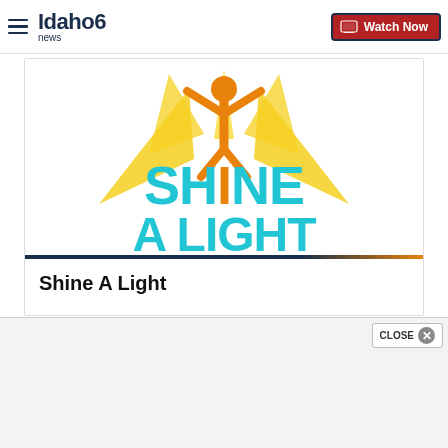Idaho News 6 — Watch Now
[Figure (logo): Shine A Light campaign logo: cyan text reading SHINE A LIGHT with an orange figure person raising arms, radiating yellow rays on white background]
Shine A Light